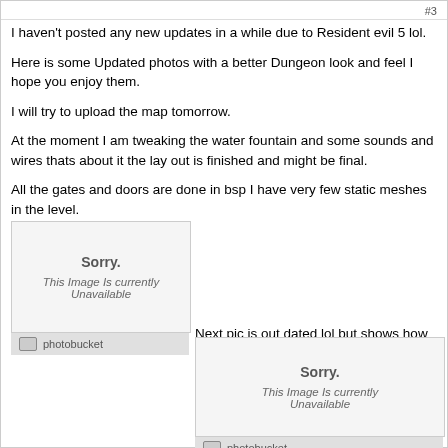#3
I haven't posted any new updates in a while due to Resident evil 5 lol.
Here is some Updated photos with a better Dungeon look and feel I hope you enjoy them.
I will try to upload the map tomorrow.
At the moment I am tweaking the water fountain and some sounds and wires thats about it the lay out is finished and might be final.
All the gates and doors are done in bsp I have very few static meshes in the level.
[Figure (photo): Photobucket placeholder: Sorry. This Image Is currently Unavailable]
Next pic is out dated lol but shows how it
[Figure (photo): Photobucket placeholder: Sorry. This Image Is currently Unavailable]